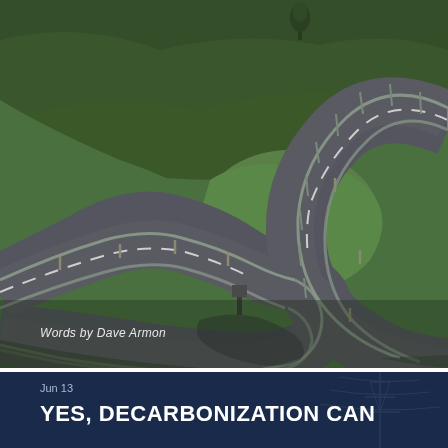[Figure (photo): Aerial view of a winding S-curve mountain road with green grass hills, guardrails on both sides, and a small tree visible in the upper area. The road curves sharply forming a hairpin turn.]
Words by Dave Armon
Jun 13
YES, DECARBONIZATION CAN